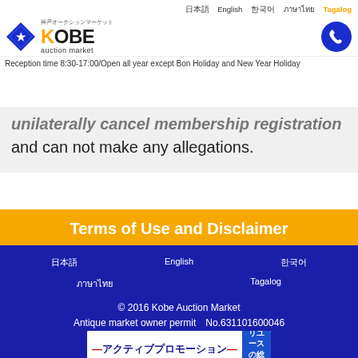神戸オークションマーケット KOBE auction market | Reception time 8:30-17:00/Open all year except Bon Holiday and New Year Holiday
unilaterally cancel membership registration and can not make any allegations.
Terms of Use and Disclaimer
日本語 English 한국어 ภาษาไทย Tagalog © 2016 Kobe Auction Market Antique market owner permit No.631101600046